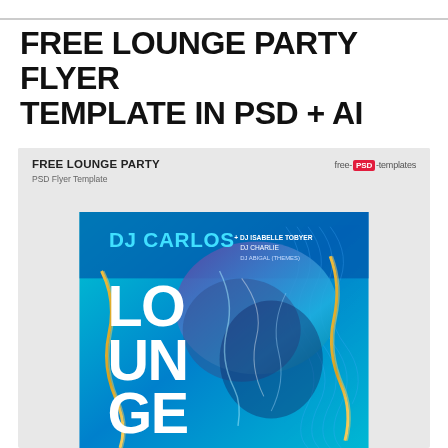FREE LOUNGE PARTY FLYER TEMPLATE IN PSD + AI
FREE LOUNGE PARTY
PSD Flyer Template
[Figure (illustration): Lounge party flyer preview showing DJ Carlos event with blue/teal background, gold wave accents, marble texture, and large stacked text reading LOUNGE PARTY. DJ names listed: DJ Isabelle Tobyer, DJ Charlie, DJ Abigal (themes).]
free-PSD-templates